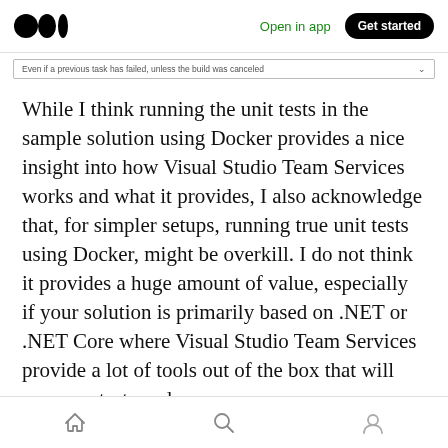Open in app | Get started
[Figure (screenshot): Dropdown bar showing: 'Even if a previous task has failed, unless the build was canceled']
While I think running the unit tests in the sample solution using Docker provides a nice insight into how Visual Studio Team Services works and what it provides, I also acknowledge that, for simpler setups, running true unit tests using Docker, might be overkill. I do not think it provides a huge amount of value, especially if your solution is primarily based on .NET or .NET Core where Visual Studio Team Services provide a lot of tools out of the box that will run your tests and
Home | Search | Profile